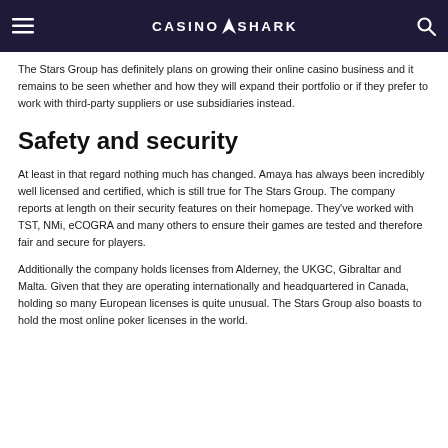CASINOSHARK
The Stars Group has definitely plans on growing their online casino business and it remains to be seen whether and how they will expand their portfolio or if they prefer to work with third-party suppliers or use subsidiaries instead.
Safety and security
At least in that regard nothing much has changed. Amaya has always been incredibly well licensed and certified, which is still true for The Stars Group. The company reports at length on their security features on their homepage. They've worked with TST, NMi, eCOGRA and many others to ensure their games are tested and therefore fair and secure for players.
Additionally the company holds licenses from Alderney, the UKGC, Gibraltar and Malta. Given that they are operating internationally and headquartered in Canada, holding so many European licenses is quite unusual. The Stars Group also boasts to hold the most online poker licenses in the world.